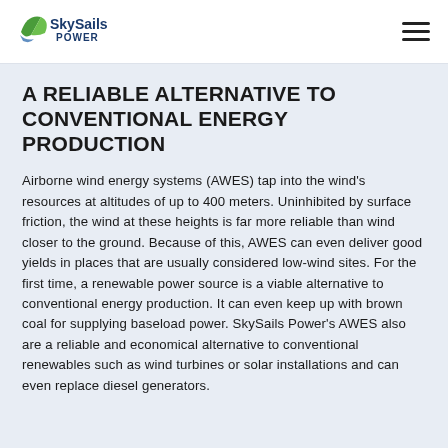SkySails POWER
A RELIABLE ALTERNATIVE TO CONVENTIONAL ENERGY PRODUCTION
Airborne wind energy systems (AWES) tap into the wind's resources at altitudes of up to 400 meters. Uninhibited by surface friction, the wind at these heights is far more reliable than wind closer to the ground. Because of this, AWES can even deliver good yields in places that are usually considered low-wind sites. For the first time, a renewable power source is a viable alternative to conventional energy production. It can even keep up with brown coal for supplying baseload power. SkySails Power's AWES also are a reliable and economical alternative to conventional renewables such as wind turbines or solar installations and can even replace diesel generators.